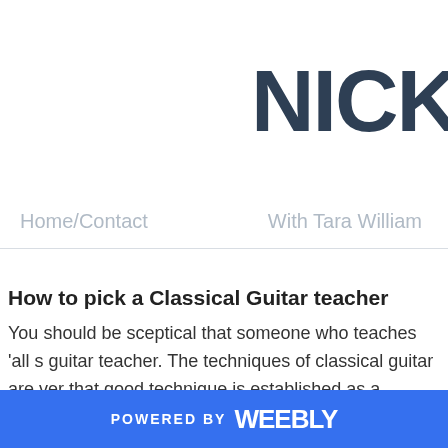NICK
Home/Contact    With Tara William
How to pick a Classical Guitar teacher
You should be sceptical that someone who teaches 'all s guitar teacher. The techniques of classical guitar are ver that good technique is established as a foundation. Class
POWERED BY weebly